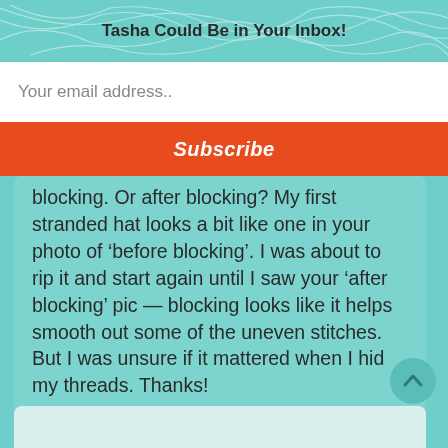Tasha Could Be in Your Inbox!
Your email address..
Subscribe
blocking. Or after blocking? My first stranded hat looks a bit like one in your photo of ‘before blocking’. I was about to rip it and start again until I saw your ‘after blocking’ pic — blocking looks like it helps smooth out some of the uneven stitches. But I was unsure if it mattered when I hid my threads. Thanks!
↩ Reply